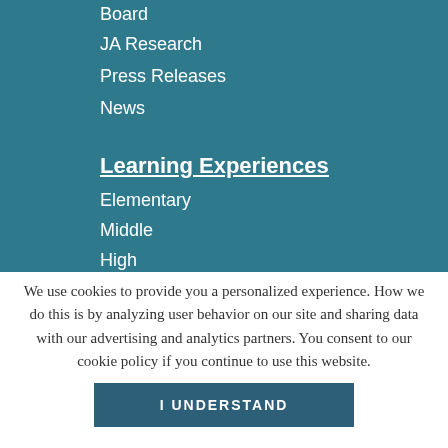Board
JA Research
Press Releases
News
Learning Experiences
Elementary
Middle
High
We use cookies to provide you a personalized experience. How we do this is by analyzing user behavior on our site and sharing data with our advertising and analytics partners. You consent to our cookie policy if you continue to use this website.
I UNDERSTAND